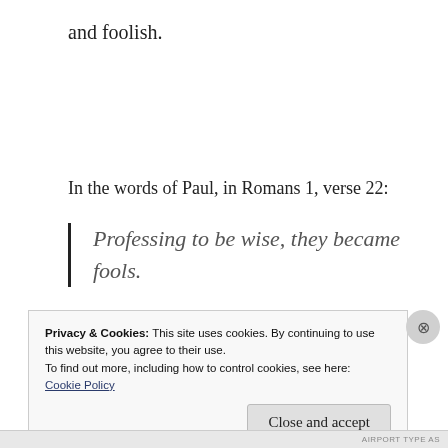and foolish.
In the words of Paul, in Romans 1, verse 22:
Professing to be wise, they became fools.
Privacy & Cookies: This site uses cookies. By continuing to use this website, you agree to their use.
To find out more, including how to control cookies, see here:
Cookie Policy
Close and accept